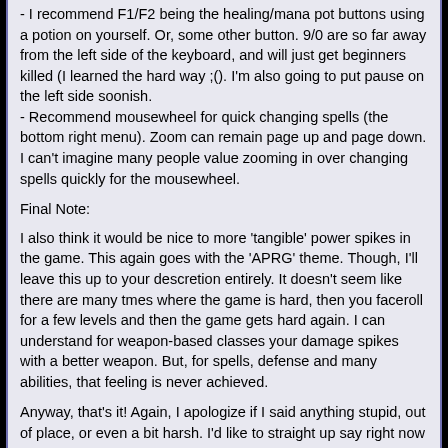- I recommend F1/F2 being the healing/mana pot buttons using a potion on yourself. Or, some other button. 9/0 are so far away from the left side of the keyboard, and will just get beginners killed (I learned the hard way ;(). I'm also going to put pause on the left side soonish.
- Recommend mousewheel for quick changing spells (the bottom right menu). Zoom can remain page up and page down. I can't imagine many people value zooming in over changing spells quickly for the mousewheel.
Final Note:
I also think it would be nice to more 'tangible' power spikes in the game. This again goes with the 'APRG' theme. Though, I'll leave this up to your descretion entirely. It doesn't seem like there are many tmes where the game is hard, then you faceroll for a few levels and then the game gets hard again. I can understand for weapon-based classes your damage spikes with a better weapon. But, for spells, defense and many abilities, that feeling is never achieved.
Anyway, that's it! Again, I apologize if I said anything stupid, out of place, or even a bit harsh. I'd like to straight up say right now that I love this game and am nearing the 50 hours of playtime mark (not a crazy amount... yet!). I might have missed some topics, but I think I covered everything in my head from my time playing. Hopefully you will bear with me! In the meantime, it's time for me to get destroyed in my modded out game where every monster is Demigod rank! Muahahaha! (I love how many variables are public and modifiable!)